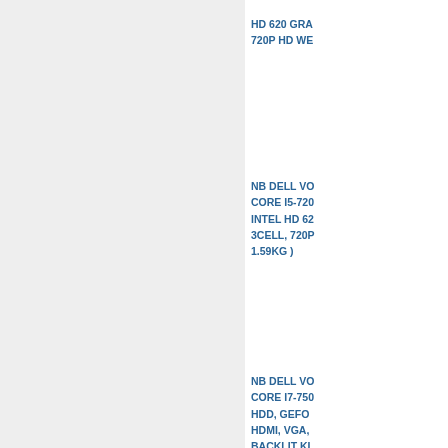[Figure (other): Left grey panel background]
HD 620 GRA... 720P HD WE...
NB DELL VO... CORE I5-72... INTEL HD 6... 3CELL, 720... 1.59KG )
NB DELL VO... CORE I7-75... HDD, GEFO... HDMI, VGA,... BACKLIT K...
NB D... VO... CORE... 72... 256GB SSD...
[Figure (other): Green circle icon overlay on bottom card]